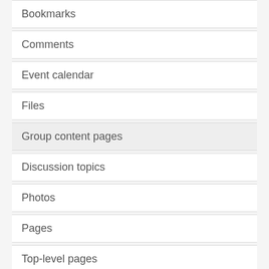Bookmarks
Comments
Event calendar
Files
Group content pages
Discussion topics
Photos
Pages
Top-level pages
Polls
Resources